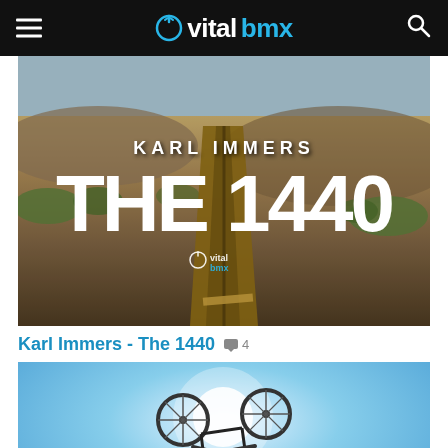vital bmx
[Figure (screenshot): Karl Immers - The 1440 video thumbnail. Aerial view of a dirt BMX ramp/track in a desert landscape with text overlay reading 'KARL IMMERS - THE 1440' and vital bmx logo watermark.]
Karl Immers - The 1440  💬4
[Figure (photo): Low-angle fisheye shot of a BMX rider performing a trick, bike silhouetted against a bright blue sky, urban street scene in background with trees and buildings.]